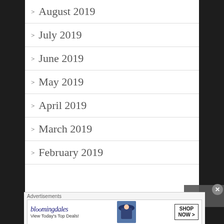> August 2019
> July 2019
> June 2019
> May 2019
> April 2019
> March 2019
> February 2019
> January 2019
Advertisements
[Figure (other): Bloomingdale's advertisement banner: 'bloomingdales View Today's Top Deals!' with SHOP NOW > button and woman in hat image]